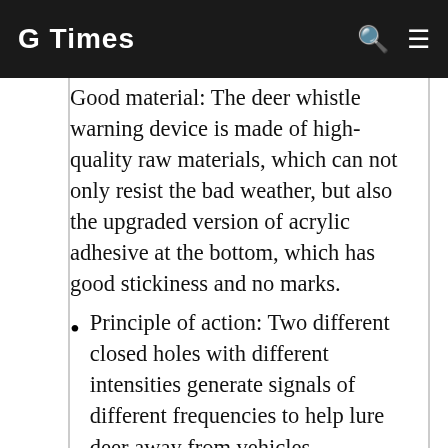G Times
Good material: The deer whistle warning device is made of high-quality raw materials, which can not only resist the bad weather, but also the upgraded version of acrylic adhesive at the bottom, which has good stickiness and no marks.
Principle of action: Two different closed holes with different intensities generate signals of different frequencies to help lure deer away from vehicles.
Save lives: When the speed reaches more than 35 miles per hour, the device activates the signal to prevent the deer